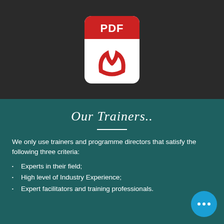[Figure (logo): Adobe PDF file icon with red header showing 'PDF' text and red Acrobat logo on white background, displayed on dark background]
Our Trainers..
We only use trainers and programme directors that satisfy the following three criteria:
Experts in their field;
High level of Industry Experience;
Expert facilitators and training professionals.